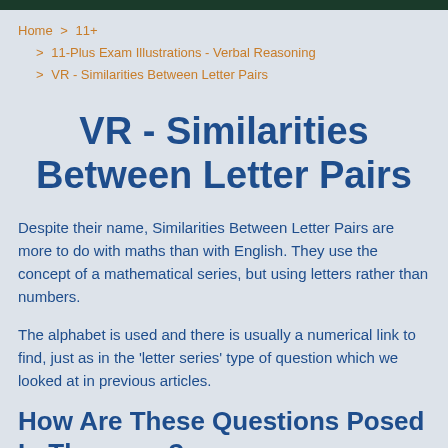Home > 11+ > 11-Plus Exam Illustrations - Verbal Reasoning > VR - Similarities Between Letter Pairs
VR - Similarities Between Letter Pairs
Despite their name, Similarities Between Letter Pairs are more to do with maths than with English. They use the concept of a mathematical series, but using letters rather than numbers.
The alphabet is used and there is usually a numerical link to find, just as in the 'letter series' type of question which we looked at in previous articles.
How Are These Questions Posed In The exam?